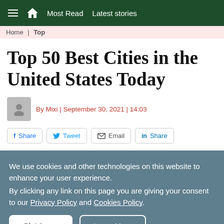Most Read   Latest stories
Home | Top
Top 50 Best Cities in the United States Today
By Mixi | September 30, 2021 | 14:03
Share  Tweet  Email  Share
We use cookies and other technologies on this website to enhance your user experience. By clicking any link on this page you are giving your consent to our Privacy Policy and Cookies Policy.

Ok I Agree    Learn More